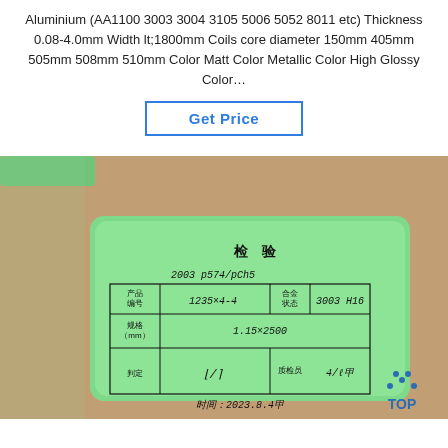Aluminium (AA1100 3003 3004 3105 5006 5052 8011 etc) Thickness 0.08-4.0mm Width lt;1800mm Coils core diameter 150mm 405mm 505mm 508mm 510mm Color Matt Color Metallic Color High Glossy Color…
[Figure (other): Button labeled 'Get Price' with blue border and blue text]
[Figure (photo): Photo of an aluminium coil with a green inspection label tag attached. The label contains Chinese characters reading 检验 (inspection), with handwritten entries for product number (产品编号), specification (规格mm), alloy state (合金状态), judgment (判定), quality inspector (质检员), and date (时间). The tag shows handwritten values: 1235x4-4, 3003, H16, 1.15×2500, and date 2023.8.4. A 'TOP' logo with blue dots appears in the lower right corner.]